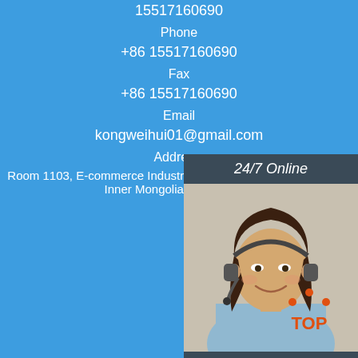15517160690
Phone
+86 15517160690
Fax
+86 15517160690
Email
kongweihui01@gmail.com
Address:
Room 1103, E-commerce Industrial Park, Jinchuan one, Hohhot, Inner Mongolia Autonomous
[Figure (photo): 24/7 Online chat widget with photo of woman with headset, 'Click here for free chat!' text and orange QUOTATION button]
Name:
Email:
Phone / Fax / Other Contact Information